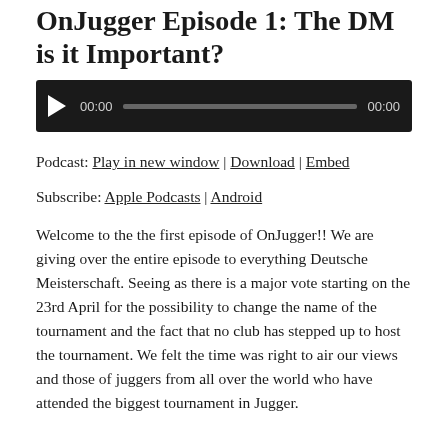OnJugger Episode 1: The DM is it Important?
[Figure (other): Audio player widget with play button, timestamp 00:00, progress bar, and end timestamp 00:00 on dark background]
Podcast: Play in new window | Download | Embed
Subscribe: Apple Podcasts | Android
Welcome to the the first episode of OnJugger!! We are giving over the entire episode to everything Deutsche Meisterschaft. Seeing as there is a major vote starting on the 23rd April for the possibility to change the name of the tournament and the fact that no club has stepped up to host the tournament. We felt the time was right to air our views and those of juggers from all over the world who have attended the biggest tournament in Jugger.